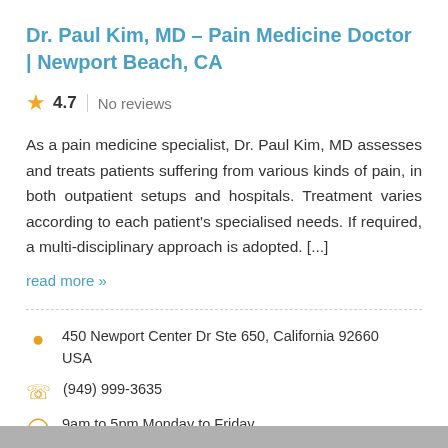Dr. Paul Kim, MD – Pain Medicine Doctor | Newport Beach, CA
4.7  |  No reviews
As a pain medicine specialist, Dr. Paul Kim, MD assesses and treats patients suffering from various kinds of pain, in both outpatient setups and hospitals. Treatment varies according to each patient's specialised needs. If required, a multi-disciplinary approach is adopted. [...]
read more »
450 Newport Center Dr Ste 650, California 92660 USA
(949) 999-3635
9am to 5pm Monday to Friday